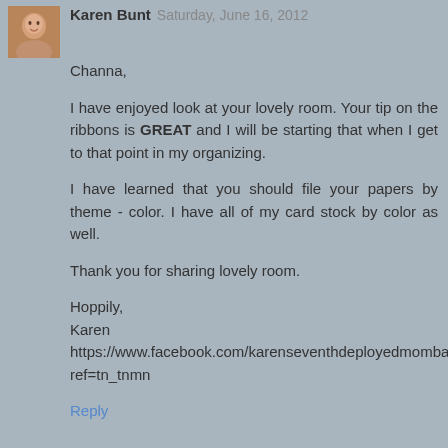Karen Bunt Saturday, June 16, 2012
Channa,

I have enjoyed look at your lovely room. Your tip on the ribbons is GREAT and I will be starting that when I get to that point in my organizing.

I have learned that you should file your papers by theme - color. I have all of my card stock by color as well.

Thank you for sharing lovely room.

Hoppily,
Karen
https://www.facebook.com/karenseventhdeployedmombahit?ref=tn_tnmn
Reply
Allisa Saturday, June 16, 2012
I love your ribbon storage..........but the thought of unrolling all my ribbon might be more than I can handle. I store my